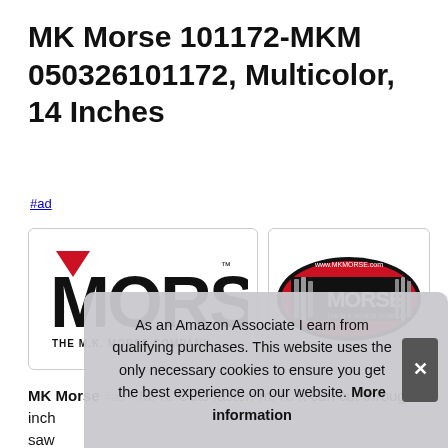MK Morse 101172-MKM 050326101172, Multicolor, 14 Inches
#ad
[Figure (logo): MK Morse company logo — black text 'MORSE' with M.K. Morse chevron V and tagline 'THE M.K. MORSE COMPANY']
[Figure (logo): MK Morse oval badge logo — red oval with saw blade silhouettes and 'Morse THE M.K. MORSE COMPANY' text, www.mkmorse.com]
MK Morse #ad - M. K. Cuts faster: m. K. It can cut through 6 inch... saw... offe... mos...
As an Amazon Associate I earn from qualifying purchases. This website uses the only necessary cookies to ensure you get the best experience on our website. More information